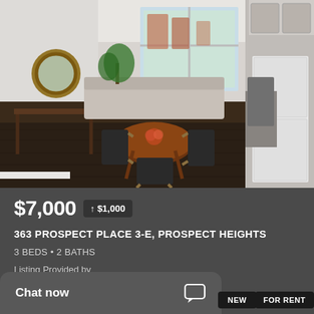[Figure (photo): Interior photo of a modern apartment showing a living/dining area with wood floors, round dining table with chairs, round mirror, console table, and open kitchen with stainless steel appliances on the right. Large windows at the back show a city view.]
$7,000 ↑ $1,000
363 PROSPECT PLACE 3-E, PROSPECT HEIGHTS
3 BEDS • 2 BATHS
Listing Provided by Compass
Chat now
NEW
FOR RENT